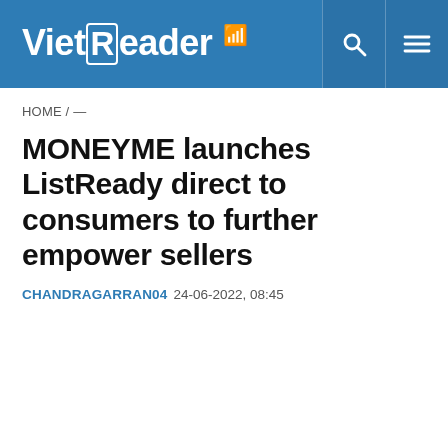VietReader
HOME / —
MONEYME launches ListReady direct to consumers to further empower sellers
CHANDRAGARRAN04  24-06-2022, 08:45